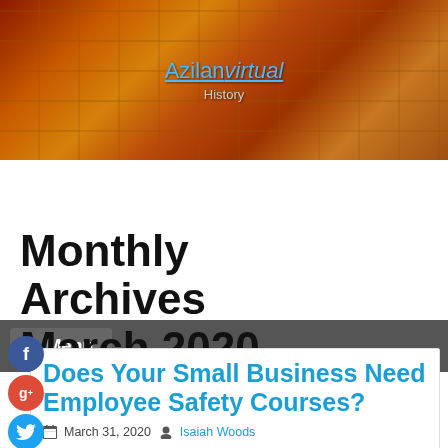Azilan virtual — History
≡ Menu
Monthly Archives March 2020
Does Your Small Business Need Employee Safety Courses?
March 31, 2020  Isaiah Woods